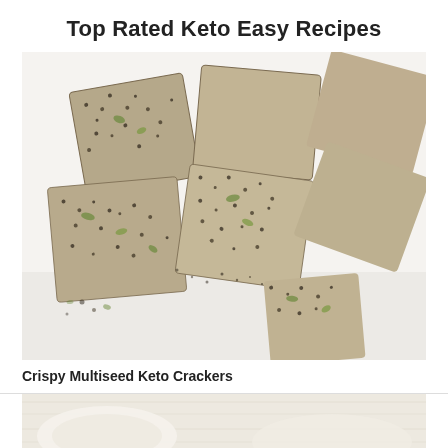Top Rated Keto Easy Recipes
[Figure (photo): Crispy multiseed keto crackers scattered on a white surface, showing seed-covered square crackers with pumpkin seeds and chia seeds visible]
Crispy Multiseed Keto Crackers
[Figure (photo): Partial view of another keto recipe item on a light wooden surface, bottom of page]